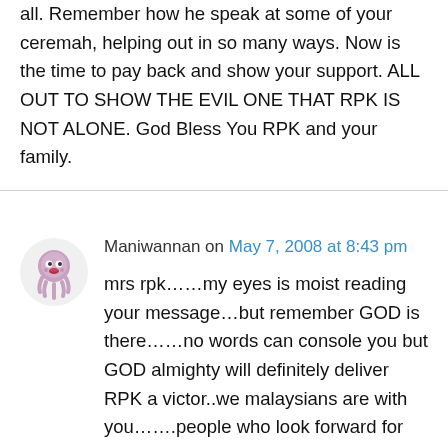all. Remember how he speak at some of your ceremah, helping out in so many ways. Now is the time to pay back and show your support. ALL OUT TO SHOW THE EVIL ONE THAT RPK IS NOT ALONE. God Bless You RPK and your family.
Maniwannan on May 7, 2008 at 8:43 pm
mrs rpk……my eyes is moist reading your message…but remember GOD is there……no words can console you but GOD almighty will definitely deliver RPK a victor..we malaysians are with you…….people who look forward for their last days will behave erartic and thats what s BN govt is doing now…….they are gone